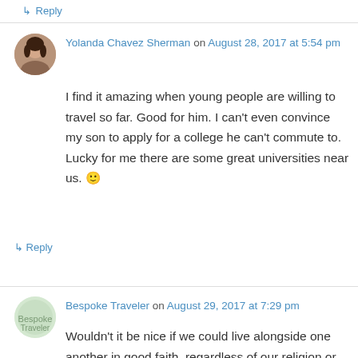↳ Reply
Yolanda Chavez Sherman on August 28, 2017 at 5:54 pm
I find it amazing when young people are willing to travel so far. Good for him. I can't even convince my son to apply for a college he can't commute to. Lucky for me there are some great universities near us. 🙂
↳ Reply
Bespoke Traveler on August 29, 2017 at 7:29 pm
Wouldn't it be nice if we could live alongside one another in good faith, regardless of our religion or ethnicity?